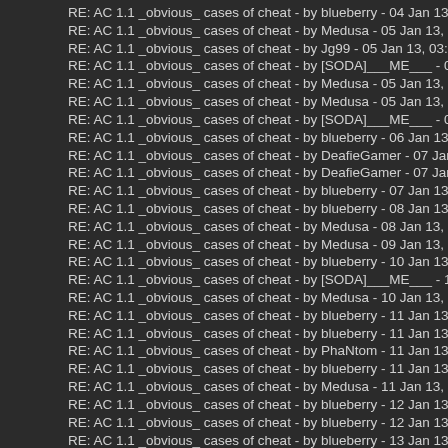RE: AC 1.1 _obvious_ cases of cheat - by blueberry - 04 Jan 13, 08:52PM
RE: AC 1.1 _obvious_ cases of cheat - by Medusa - 05 Jan 13, 12:48AM
RE: AC 1.1 _obvious_ cases of cheat - by Jg99 - 05 Jan 13, 03:48AM
RE: AC 1.1 _obvious_ cases of cheat - by [SODA]___ME___ - 05 Jan 13, 04:4
RE: AC 1.1 _obvious_ cases of cheat - by Medusa - 05 Jan 13, 04:04PM
RE: AC 1.1 _obvious_ cases of cheat - by Medusa - 05 Jan 13, 11:46PM
RE: AC 1.1 _obvious_ cases of cheat - by [SODA]___ME___ - 06 Jan 13, 06:3
RE: AC 1.1 _obvious_ cases of cheat - by blueberry - 06 Jan 13, 06:58AM
RE: AC 1.1 _obvious_ cases of cheat - by DeafieGamer - 07 Jan 13, 03:33AM
RE: AC 1.1 _obvious_ cases of cheat - by DeafieGamer - 07 Jan 13, 10:08AM
RE: AC 1.1 _obvious_ cases of cheat - by blueberry - 07 Jan 13, 06:40PM
RE: AC 1.1 _obvious_ cases of cheat - by blueberry - 08 Jan 13, 07:26PM
RE: AC 1.1 _obvious_ cases of cheat - by Medusa - 08 Jan 13, 11:10PM
RE: AC 1.1 _obvious_ cases of cheat - by Medusa - 09 Jan 13, 11:29AM
RE: AC 1.1 _obvious_ cases of cheat - by blueberry - 10 Jan 13, 05:38AM
RE: AC 1.1 _obvious_ cases of cheat - by [SODA]___ME___ - 10 Jan 13, 06:0
RE: AC 1.1 _obvious_ cases of cheat - by Medusa - 10 Jan 13, 10:33AM
RE: AC 1.1 _obvious_ cases of cheat - by blueberry - 11 Jan 13, 07:03AM
RE: AC 1.1 _obvious_ cases of cheat - by blueberry - 11 Jan 13, 08:50AM
RE: AC 1.1 _obvious_ cases of cheat - by PhaNtom - 11 Jan 13, 03:55PM
RE: AC 1.1 _obvious_ cases of cheat - by blueberry - 11 Jan 13, 10:39PM
RE: AC 1.1 _obvious_ cases of cheat - by Medusa - 11 Jan 13, 11:32PM
RE: AC 1.1 _obvious_ cases of cheat - by blueberry - 12 Jan 13, 01:09AM
RE: AC 1.1 _obvious_ cases of cheat - by blueberry - 12 Jan 13, 10:14PM
RE: AC 1.1 _obvious_ cases of cheat - by blueberry - 13 Jan 13, 09:34PM